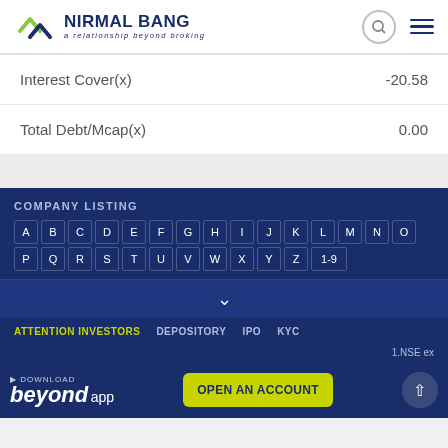[Figure (logo): Nirmal Bang logo with stylized checkmark and text 'a relationship beyond broking']
| Interest Cover(x) | -20.58 |
| Total Debt/Mcap(x) | 0.00 |
COMPANY LISTING
A B C D E F G H I J K L M N O P Q R S T U V W X Y Z 1-9
ATTENTION INVESTORS   DEPOSITORY   IPO   KYC
1.NSE ex
[Figure (logo): Download Beyond App logo]
OPEN AN ACCOUNT